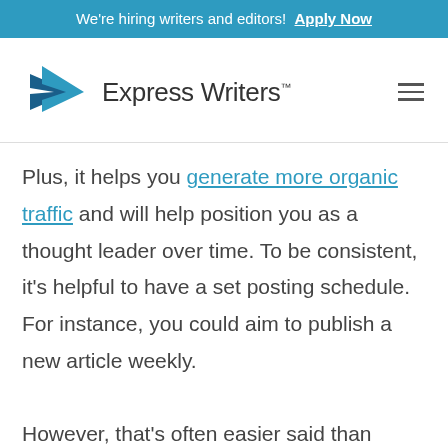We're hiring writers and editors! Apply Now
[Figure (logo): Express Writers logo with blue arrow/paper-plane icon and text 'Express Writers™']
Plus, it helps you generate more organic traffic and will help position you as a thought leader over time. To be consistent, it's helpful to have a set posting schedule. For instance, you could aim to publish a new article weekly. However, that's often easier said than